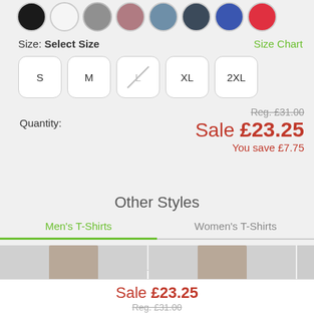[Figure (illustration): Row of color swatches (circles): black, white, grey, mauve/rose, steel blue, dark navy, royal blue, red/coral]
Size: Select Size
Size Chart
S  M  L  XL  2XL
Quantity:
Reg. £31.00
Sale £23.25
You save £7.75
Other Styles
Men's T-Shirts
Women's T-Shirts
[Figure (photo): Partial product photos of men's t-shirts]
Sale £23.25
Reg. £31.00